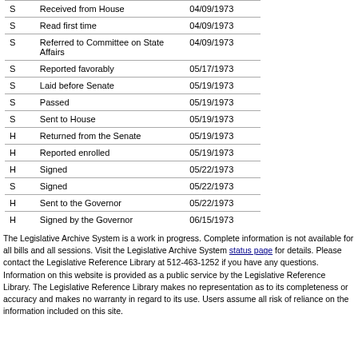|  | Action | Date |
| --- | --- | --- |
| S | Received from House | 04/09/1973 |
| S | Read first time | 04/09/1973 |
| S | Referred to Committee on State Affairs | 04/09/1973 |
| S | Reported favorably | 05/17/1973 |
| S | Laid before Senate | 05/19/1973 |
| S | Passed | 05/19/1973 |
| S | Sent to House | 05/19/1973 |
| H | Returned from the Senate | 05/19/1973 |
| H | Reported enrolled | 05/19/1973 |
| H | Signed | 05/22/1973 |
| S | Signed | 05/22/1973 |
| H | Sent to the Governor | 05/22/1973 |
| H | Signed by the Governor | 06/15/1973 |
The Legislative Archive System is a work in progress. Complete information is not available for all bills and all sessions. Visit the Legislative Archive System status page for details. Please contact the Legislative Reference Library at 512-463-1252 if you have any questions. Information on this website is provided as a public service by the Legislative Reference Library. The Legislative Reference Library makes no representation as to its completeness or accuracy and makes no warranty in regard to its use. Users assume all risk of reliance on the information included on this site.